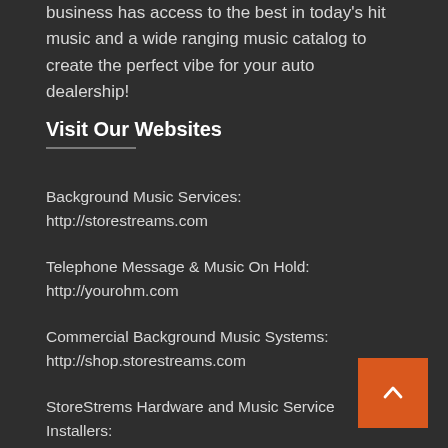business has access to the best in today's hit music and a wide ranging music catalog to create the perfect vibe for your auto dealership!
Visit Our Websites
Background Music Services:
http://storestreams.com
Telephone Message & Music On Hold:
http://yourohm.com
Commercial Background Music Systems:
http://shop.storestreams.com
StoreStrems Hardware and Music Service Installers:
http://partners.storestreams.com